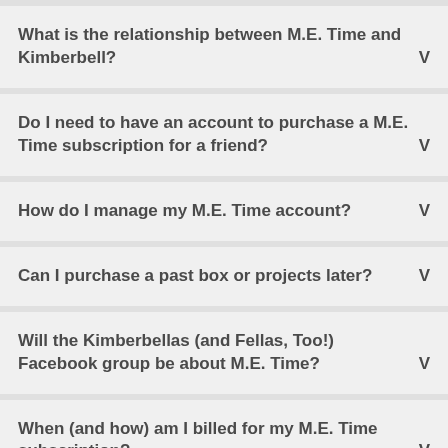What is the relationship between M.E. Time and Kimberbell?
Do I need to have an account to purchase a M.E. Time subscription for a friend?
How do I manage my M.E. Time account?
Can I purchase a past box or projects later?
Will the Kimberbellas (and Fellas, Too!) Facebook group be about M.E. Time?
When (and how) am I billed for my M.E. Time subscription?